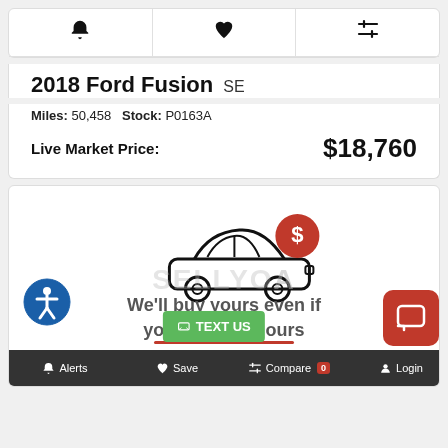[Figure (screenshot): Top navigation icon row with bell (alerts), heart (save), and compare (sliders) icons]
2018 Ford Fusion SE
Miles: 50,458   Stock: P0163A
Live Market Price: $18,760
[Figure (illustration): White card section with accessibility icon (blue circle with person), car sedan illustration with red dollar sign badge, and red underline. SELLYO watermark text. Bottom nav bar: bell Alerts, heart Save, compare Compare 0, person Login. Green TEXT US button. Red chat button. Bottom text: We'll buy yours even if you don't buy ours.]